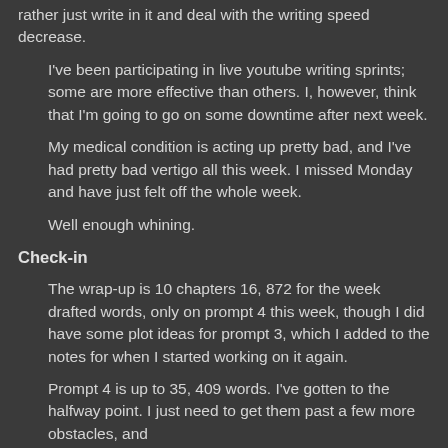rather just write in it and deal with the writing speed decrease.
I've been participating in live youtube writing sprints; some are more effective than others. I, however, think that I'm going to go on some downtime after next week.
My medical condition is acting up pretty bad, and I've had pretty bad vertigo all this week. I missed Monday and have just felt off the whole week.
Well enough whining.
Check-in
The wrap-up is 10 chapters 16, 872 for the week drafted words, only on prompt 4 this week, though I did have some plot ideas for prompt 3, which I added to the notes for when I started working on it again.
Prompt 4 is up to 35, 409 words. I've gotten to the halfway point. I just need to get them past a few more obstacles, and